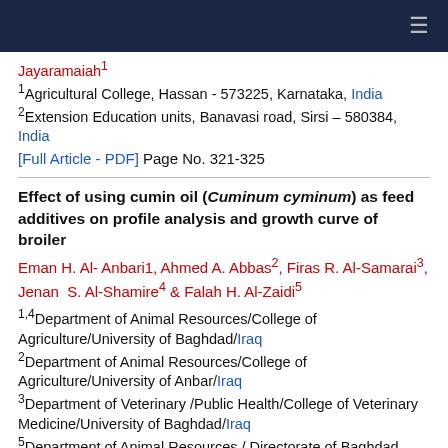Jayaramaiah¹
¹Agricultural College, Hassan - 573225, Karnataka, India
²Extension Education units, Banavasi road, Sirsi – 580384, India
[Full Article - PDF] Page No. 321-325
Effect of using cumin oil (Cuminum cyminum) as feed additives on profile analysis and growth curve of broiler
Eman H. Al- Anbari1, Ahmed A. Abbas², Firas R. Al-Samarai³, Jenan S. Al-Shamire⁴ & Falah H. Al-Zaidi⁵
¹·⁴Department of Animal Resources/College of Agriculture/University of Baghdad/Iraq
²Department of Animal Resources/College of Agriculture/University of Anbar/Iraq
³Department of Veterinary /Public Health/College of Veterinary Medicine/University of Baghdad/Iraq
⁵Department of Animal Resources / Directorate of Baghdad Agriculture /Ministry of Agriculture/ Iraq
[Full Article - PDF] Page No. 326-330